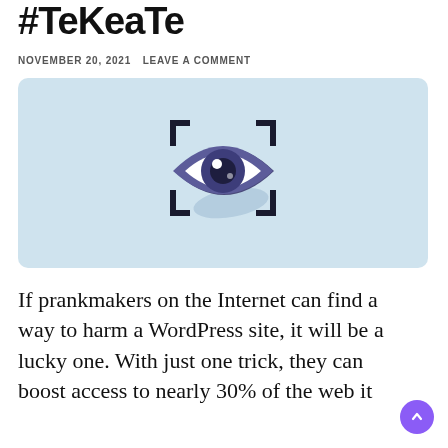#TeKeaTe
NOVEMBER 20, 2021  LEAVE A COMMENT
[Figure (illustration): An eye icon with scan/focus bracket corners on a light blue rounded rectangle background, styled as a digital surveillance or view icon with purple/navy coloring and a shadow effect.]
If prankmakers on the Internet can find a way to harm a WordPress site, it will be a lucky one. With just one trick, they can boost access to nearly 30% of the web it...